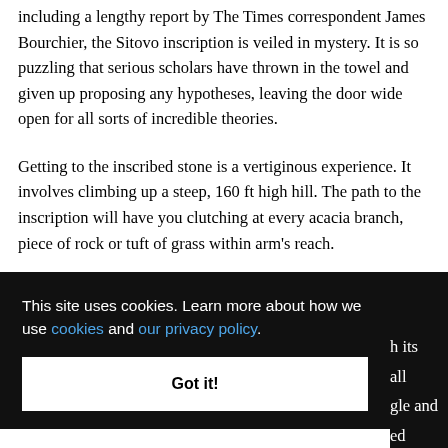including a lengthy report by The Times correspondent James Bourchier, the Sitovo inscription is veiled in mystery. It is so puzzling that serious scholars have thrown in the towel and given up proposing any hypotheses, leaving the door wide open for all sorts of incredible theories.
Getting to the inscribed stone is a vertiginous experience. It involves climbing up a steep, 160 ft high hill. The path to the inscription will have you clutching at every acacia branch, piece of rock or tuft of grass within arm's reach.
[partial] ...h its ...all ...gle and ...ed
This site uses cookies. Learn more about how we use cookies and our privacy policy.
Got it!